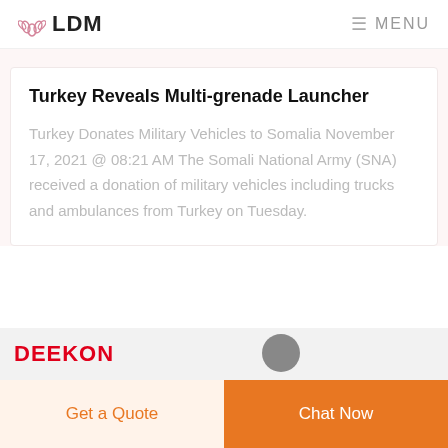LDM  MENU
Turkey Reveals Multi-grenade Launcher
Turkey Donates Military Vehicles to Somalia November 17, 2021 @ 08:21 AM The Somali National Army (SNA) received a donation of military vehicles including trucks and ambulances from Turkey on Tuesday.
DEEKON
Get a Quote
Chat Now